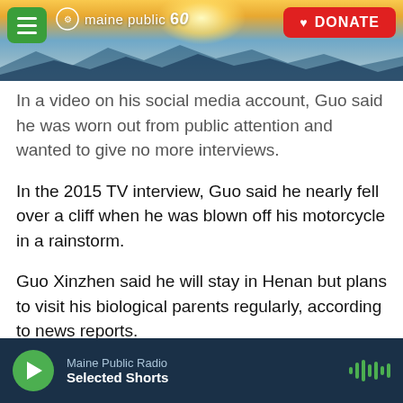Maine Public 60 — DONATE
In a video on his social media account, Guo said he was worn out from public attention and wanted to give no more interviews.
In the 2015 TV interview, Guo said he nearly fell over a cliff when he was blown off his motorcycle in a rainstorm.
Guo Xinzhen said he will stay in Henan but plans to visit his biological parents regularly, according to news reports.
"He is a great father," Guo Xinzhen was quoted as saying to reporters. "I am proud of him."
Maine Public Radio — Selected Shorts